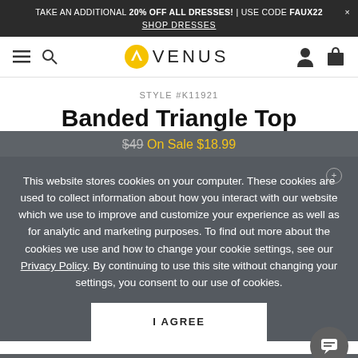TAKE AN ADDITIONAL 20% OFF ALL DRESSES! | USE CODE FAUX22 × SHOP DRESSES
[Figure (logo): Venus fashion brand logo with yellow V emblem and VENUS wordmark, plus hamburger menu, search, user, and cart icons in navigation bar]
STYLE #K11921
Banded Triangle Top
$49 On Sale $18.99
This website stores cookies on your computer. These cookies are used to collect information about how you interact with our website which we use to improve and customize your experience as well as for analytic and marketing purposes. To find out more about the cookies we use and how to change your cookie settings, see our Privacy Policy. By continuing to use this site without changing your settings, you consent to our use of cookies.
I AGREE